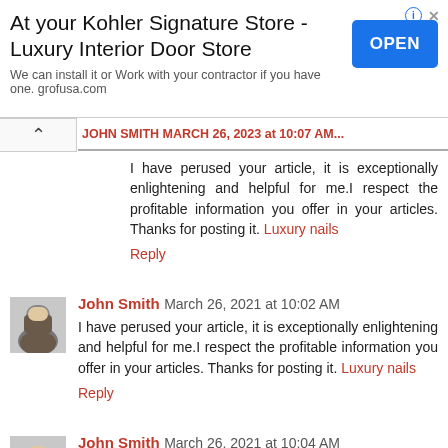[Figure (infographic): Ad banner: 'At your Kohler Signature Store - Luxury Interior Door Store' with OPEN button in blue and subtext 'We can install it or Work with your contractor if you have one. grofusa.com']
I have perused your article, it is exceptionally enlightening and helpful for me.I respect the profitable information you offer in your articles. Thanks for posting it. Luxury nails
Reply
John Smith March 26, 2021 at 10:02 AM
I have perused your article, it is exceptionally enlightening and helpful for me.I respect the profitable information you offer in your articles. Thanks for posting it. Luxury nails
Reply
John Smith March 26, 2021 at 10:04 AM
I feel extremely cheerful to have seen your site page and